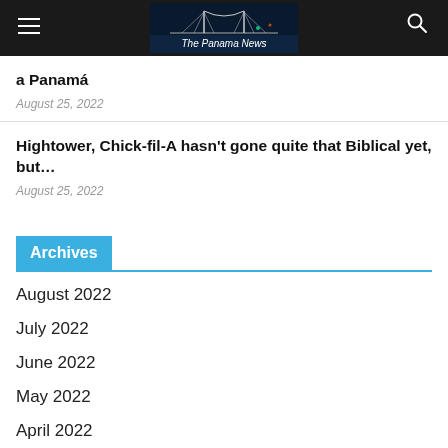The Panama News
a Panamá
August 25, 2022
Hightower, Chick-fil-A hasn't gone quite that Biblical yet, but…
August 25, 2022
Archives
August 2022
July 2022
June 2022
May 2022
April 2022
March 2022